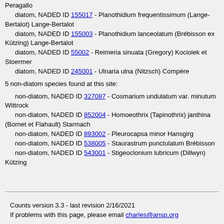Peragallo
    diatom, NADED ID 155017 - Planothidium frequentissimum (Lange-Bertalot) Lange-Bertalot
diatom, NADED ID 155003 - Planothidium lanceolatum (Brébisson ex Kützing) Lange-Bertalot
diatom, NADED ID 55002 - Reimeria sinuata (Gregory) Kociolek et Stoermer
diatom, NADED ID 245001 - Ulnaria ulna (Nitzsch) Compère
5 non-diatom species found at this site:
non-diatom, NADED ID 327087 - Cosmarium undulatum var. minutum Wittrock
non-diatom, NADED ID 852004 - Homoeothrix (Tapinothrix) janthina (Bornet et Flahault) Starmach
non-diatom, NADED ID 893002 - Pleurocapsa minor Hansgirg
non-diatom, NADED ID 538005 - Staurastrum punctulatum Brébisson
non-diatom, NADED ID 543001 - Stigeoclonium lubricum (Dillwyn) Kützing
Counts version 3.3 - last revision 2/16/2021
If problems with this page, please email charles@ansp.org